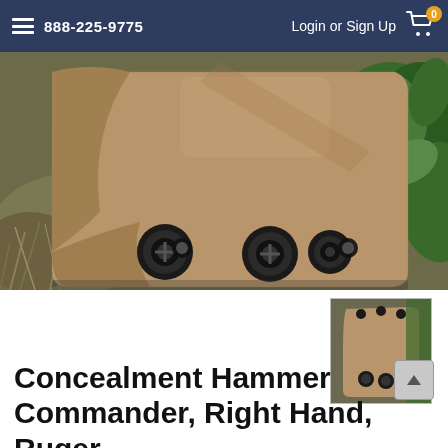888-225-9775  Login or Sign Up
[Figure (photo): Close-up photo of a tan/coyote brown Kydex holster with adjustment screws, lying on dry grass and vegetation outdoors.]
[Figure (photo): Small thumbnail image of the same tan holster product from a different angle showing the full holster body.]
Concealment Hammer Commander, Right Hand, Ruger